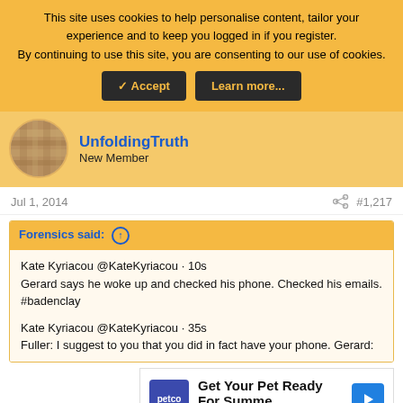This site uses cookies to help personalise content, tailor your experience and to keep you logged in if you register. By continuing to use this site, you are consenting to our use of cookies. [Accept] [Learn more...]
UnfoldingTruth
New Member
Jul 1, 2014   #1,217
Forensics said: ↑
Kate Kyriacou @KateKyriacou · 10s
Gerard says he woke up and checked his phone. Checked his emails. #badenclay

Kate Kyriacou @KateKyriacou · 35s
Fuller: I suggest to you that you did in fact have your phone. Gerard:
[Figure (screenshot): Petco advertisement: Get Your Pet Ready For Summer]